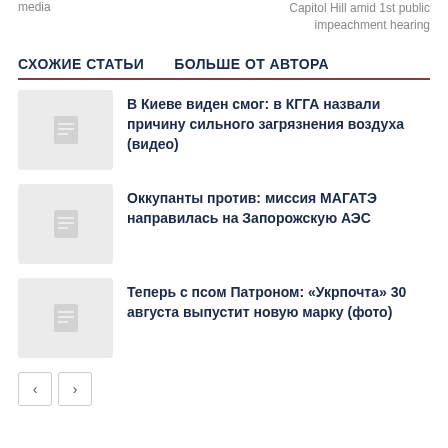media
Capitol Hill amid 1st public impeachment hearing
СХОЖИЕ СТАТЬИ    БОЛЬШЕ ОТ АВТОРА
В Киеве виден смог: в КГГА назвали причину сильного загрязнения воздуха (видео)
Оккупанты против: миссия МАГАТЭ направилась на Запорожскую АЭС
Теперь с псом Патроном: «Укрпочта» 30 августа выпустит новую марку (фото)